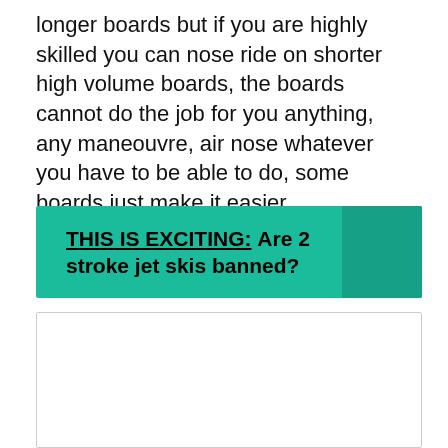There are two types of nose riding both on longer boards but if you are highly skilled you can nose ride on shorter high volume boards, the boards cannot do the job for you anything, any maneouvre, air nose whatever you have to be able to do, some boards just make it easier.
THIS IS EXCITING: Are 2 stroke jet skis banned?
[Figure (other): Empty white image box with light border, likely a placeholder for an image]